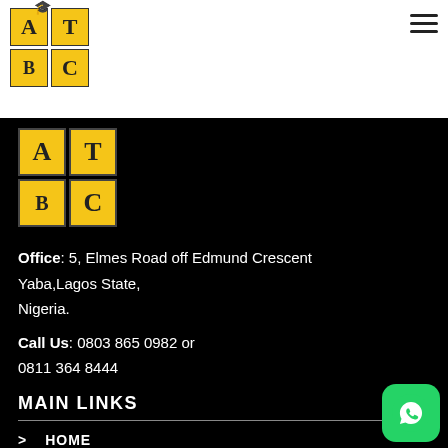[Figure (logo): ATBC logo with graduation cap, yellow and black letter tiles arranged in a 2x2 grid pattern, repeated twice]
Office: 5, Elmes Road off Edmund Crescent Yaba,Lagos State, Nigeria.
Call Us: 0803 865 0982 or 0811 364 8444
MAIN LINKS
> HOME
> ABOUT US
> SERVICES
[Figure (logo): WhatsApp green button icon in bottom right corner]